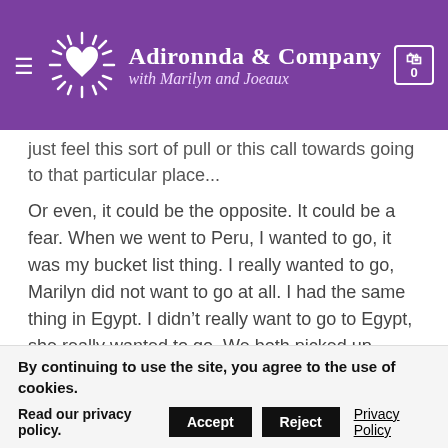[Figure (logo): Adironnda & Company with Marilyn and Joeaux website header with purple background, sun/heart logo, hamburger menu, and cart icon]
just feel this sort of pull or this call towards going to that particular place...
Or even, it could be the opposite. It could be a fear. When we went to Peru, I wanted to go, it was my bucket list thing. I really wanted to go, Marilyn did not want to go at all. I had the same thing in Egypt. I didn't really want to go to Egypt, she really wanted to go. We both picked up powerful aspects of ourselves during those trips.
When we went to Thailand last year we had the most amazing witnessing of one of our participants. It didn't
By continuing to use the site, you agree to the use of cookies.
Read our privacy policy.
Accept
Reject
Privacy Policy